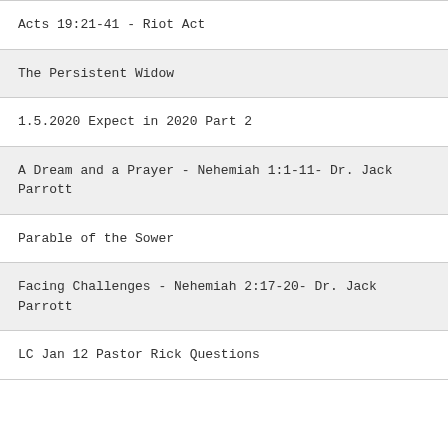Acts 19:21-41 - Riot Act
The Persistent Widow
1.5.2020 Expect in 2020 Part 2
A Dream and a Prayer - Nehemiah 1:1-11- Dr. Jack Parrott
Parable of the Sower
Facing Challenges - Nehemiah 2:17-20- Dr. Jack Parrott
LC Jan 12 Pastor Rick Questions